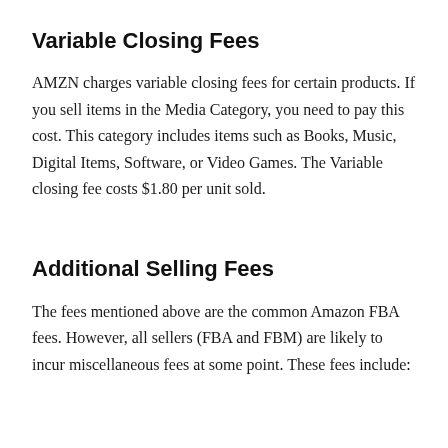Variable Closing Fees
AMZN charges variable closing fees for certain products. If you sell items in the Media Category, you need to pay this cost. This category includes items such as Books, Music, Digital Items, Software, or Video Games. The Variable closing fee costs $1.80 per unit sold.
Additional Selling Fees
The fees mentioned above are the common Amazon FBA fees. However, all sellers (FBA and FBM) are likely to incur miscellaneous fees at some point. These fees include: